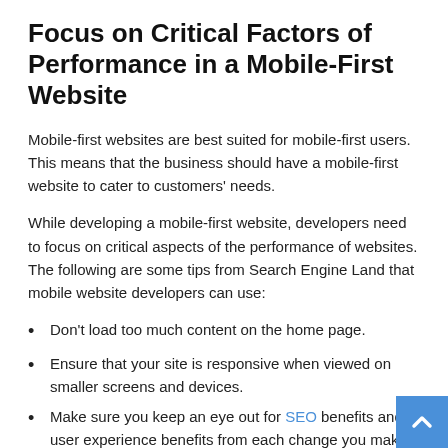Focus on Critical Factors of Performance in a Mobile-First Website
Mobile-first websites are best suited for mobile-first users. This means that the business should have a mobile-first website to cater to customers' needs.
While developing a mobile-first website, developers need to focus on critical aspects of the performance of websites. The following are some tips from Search Engine Land that mobile website developers can use:
Don't load too much content on the home page.
Ensure that your site is responsive when viewed on smaller screens and devices.
Make sure you keep an eye out for SEO benefits and user experience benefits from each change you make to your site layout or content.